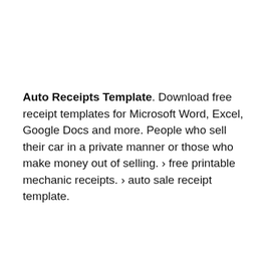Auto Receipts Template. Download free receipt templates for Microsoft Word, Excel, Google Docs and more. People who sell their car in a private manner or those who make money out of selling. › free printable mechanic receipts. › auto sale receipt template.